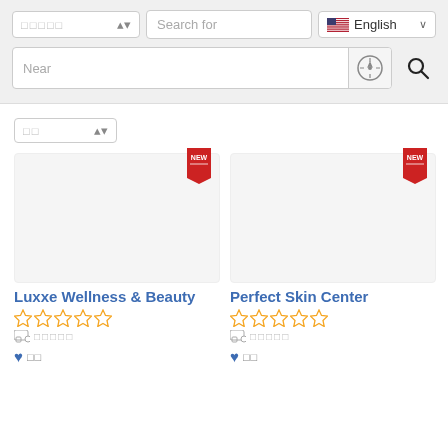[Figure (screenshot): Web search interface with category dropdown, search field, language selector showing English with US flag, Near location input with compass icon and search button]
[Figure (screenshot): Sort dropdown with Korean characters]
[Figure (screenshot): Business listing card for Luxxe Wellness & Beauty with NEW badge, 5 empty stars, Korean review count, and save button]
[Figure (screenshot): Business listing card for Perfect Skin Center with NEW badge, 5 empty stars, Korean review count, and save button]